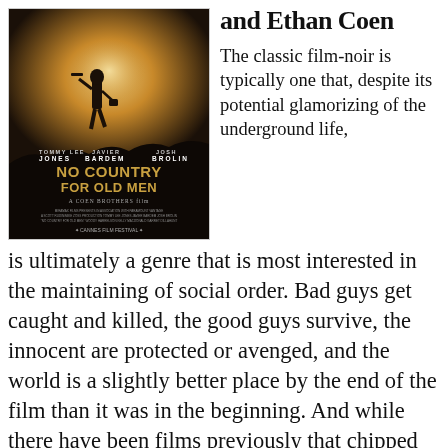[Figure (photo): Movie poster for 'No Country for Old Men', a Coen Brothers film, featuring a silhouetted figure walking with a rifle and briefcase against a bright background, with actor names Jones, Bardem, Brolin listed, and Cannes Film Festival laurel.]
and Ethan Coen
The classic film-noir is typically one that, despite its potential glamorizing of the underground life, is ultimately a genre that is most interested in the maintaining of social order. Bad guys get caught and killed, the good guys survive, the innocent are protected or avenged, and the world is a slightly better place by the end of the film than it was in the beginning. And while there have been films previously that chipped away at that